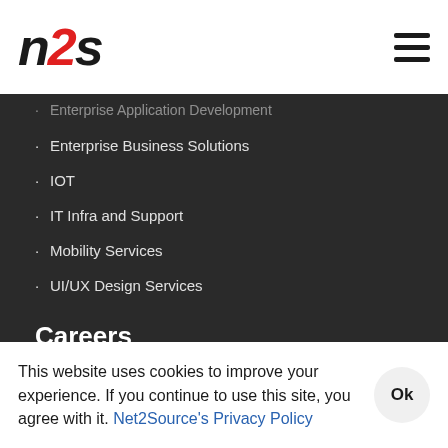[Figure (logo): n2s logo in black and red italic bold font]
Enterprise Application Development
Enterprise Business Solutions
IOT
IT Infra and Support
Mobility Services
UI/UX Design Services
Careers
Consulting Jobs
In-house Jobs
Veteran Program
Submit Resume
Events
Download App
This website uses cookies to improve your experience. If you continue to use this site, you agree with it. Net2Source's Privacy Policy